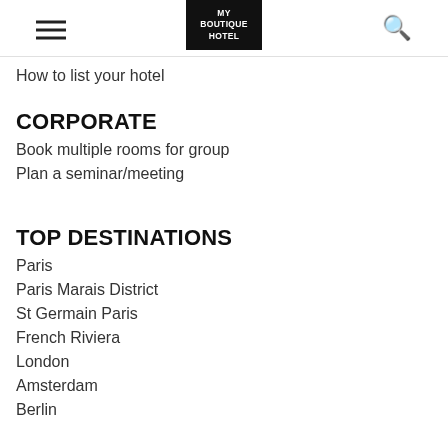MY BOUTIQUE HOTEL
How to list your hotel
CORPORATE
Book multiple rooms for group
Plan a seminar/meeting
TOP DESTINATIONS
Paris
Paris Marais District
St Germain Paris
French Riviera
London
Amsterdam
Berlin